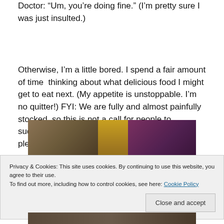Doctor: "Um, you’re doing fine." (I’m pretty sure I was just insulted.)
Otherwise, I’m a little bored. I spend a fair amount of time thinking about what delicious food I might get to eat next. (My appetite is unstoppable. I’m no quitter!) FYI: We are fully and almost painfully stocked, so this is not a call for people to suddenly send baskets of sweets or treats, please.
[Figure (photo): Photo strip showing people, partial view cropped at top and bottom]
Privacy & Cookies: This site uses cookies. By continuing to use this website, you agree to their use.
To find out more, including how to control cookies, see here: Cookie Policy
Close and accept